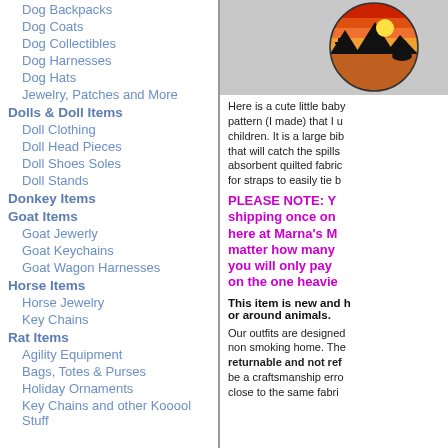Dog Backpacks
Dog Coats
Dog Collectibles
Dog Harnesses
Dog Hats
Jewelry, Patches and More
Dolls & Doll Items
Doll Clothing
Doll Head Pieces
Doll Shoes Soles
Doll Stands
Donkey Items
Goat Items
Goat Jewerly
Goat Keychains
Goat Wagon Harnesses
Horse Items
Horse Jewelry
Key Chains
Rat Items
Agility Equipment
Bags, Totes & Purses
Holiday Ornaments
Key Chains and other Kooool Stuff
[Figure (photo): Circular decorative item showing a western desert sunset scene with cacti, mountains, and a silhouette of a cowboy on horseback.]
Here is a cute little baby pattern (I made) that I u children. It is a large bib that will catch the spills absorbent quilted fabric for straps to easily tie b
PLEASE NOTE: Y shipping once on here at Marna's M matter how many you will only pay on the one heavie
This item is new and h or around animals.
Our outfits are designed non smoking home. The returnable and not ref be a craftsmanship erro close to the same fabri